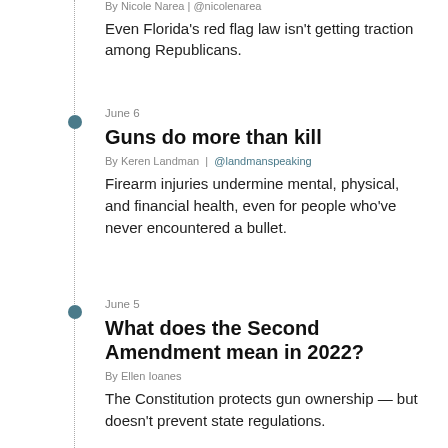By Nicole Narea | @nicolenarea
Even Florida's red flag law isn't getting traction among Republicans.
June 6
Guns do more than kill
By Keren Landman | @landmanspeaking
Firearm injuries undermine mental, physical, and financial health, even for people who've never encountered a bullet.
June 5
What does the Second Amendment mean in 2022?
By Ellen Ioanes
The Constitution protects gun ownership — but doesn't prevent state regulations.